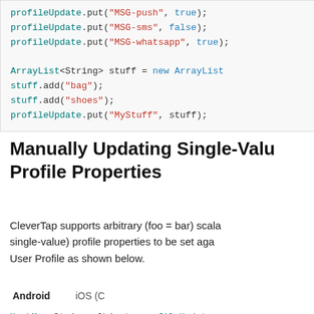[Figure (screenshot): Code block showing profileUpdate.put calls with MSG-push, MSG-sms, MSG-whatsapp keys, followed by ArrayList and stuff.add lines]
Manually Updating Single-Value Profile Properties
CleverTap supports arbitrary (foo = bar) scalar (single-value) profile properties to be set against the User Profile as shown below.
| Android | iOS (C... |
| --- | --- |
[Figure (screenshot): Code block: HashMap<String, Object> profileUpdate = ...; profileUpdate.put("Customer Type", "Si..."); profileUpdate.put("Prefered Language", "English");]
Beta UI Documentation - This documentation is for the Beta UI of Campaigns and Journeys.
Did this page help you? 👍 Ye